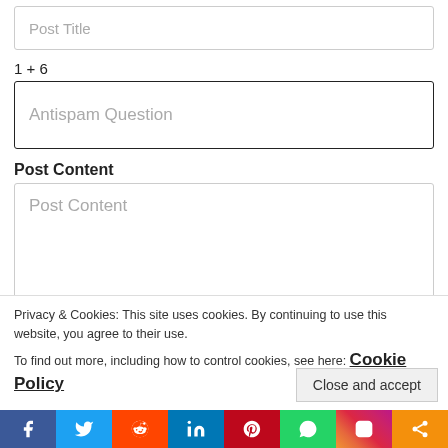Post Title
1 + 6
Antispam Question
Post Content
Post Content
Privacy & Cookies: This site uses cookies. By continuing to use this website, you agree to their use. To find out more, including how to control cookies, see here: Cookie Policy
Close and accept
[Figure (infographic): Social media share bar with icons for Facebook, Twitter, Reddit, LinkedIn, Pinterest, WhatsApp, Instagram, and Share]